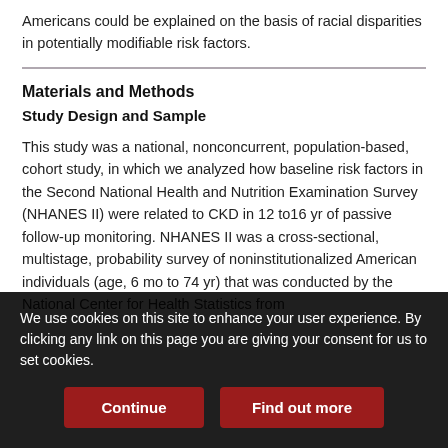Americans could be explained on the basis of racial disparities in potentially modifiable risk factors.
Materials and Methods
Study Design and Sample
This study was a national, nonconcurrent, population-based, cohort study, in which we analyzed how baseline risk factors in the Second National Health and Nutrition Examination Survey (NHANES II) were related to CKD in 12 to16 yr of passive follow-up monitoring. NHANES II was a cross-sectional, multistage, probability survey of noninstitutionalized American individuals (age, 6 mo to 74 yr) that was conducted by the National Center for Health Statistics from
We use cookies on this site to enhance your user experience. By clicking any link on this page you are giving your consent for us to set cookies.